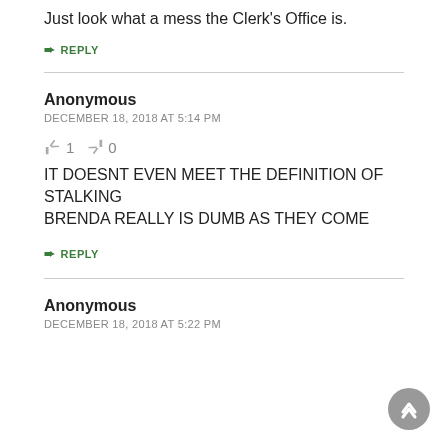Just look what a mess the Clerk's Office is.
↳ REPLY
Anonymous
DECEMBER 18, 2018 AT 5:14 PM
👍 1  👎 0
IT DOESNT EVEN MEET THE DEFINITION OF STALKING
BRENDA REALLY IS DUMB AS THEY COME
↳ REPLY
Anonymous
DECEMBER 18, 2018 AT 5:22 PM